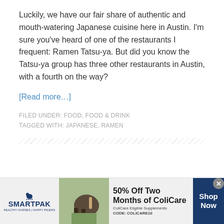Luckily, we have our fair share of authentic and mouth-watering Japanese cuisine here in Austin. I'm sure you've heard of one of the restaurants I frequent: Ramen Tatsu-ya. But did you know the Tatsu-ya group has three other restaurants in Austin, with a fourth on the way?
[Read more…]
FILED UNDER: FOOD, FOOD & DRINK
TAGGED WITH: JAPANESE, RAMEN
[Figure (other): Diagonal stripe divider line]
[Figure (other): SmartPak advertisement banner: 50% Off Two Months of ColiCare, ColiCare Eligible Supplements, CODE: COLICARE10, Shop Now button, with horse and rider image]